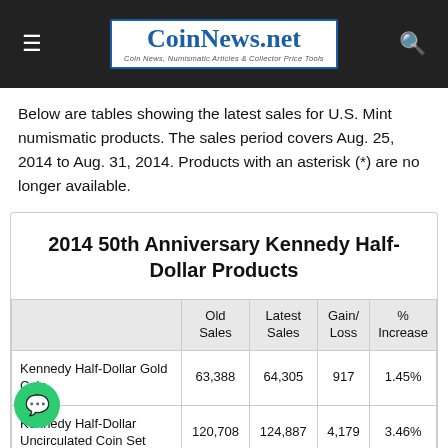CoinNews.net — Coin News, Numismatic Articles & Collector Price Tools
Below are tables showing the latest sales for U.S. Mint numismatic products. The sales period covers Aug. 25, 2014 to Aug. 31, 2014. Products with an asterisk (*) are no longer available.
|  | Old Sales | Latest Sales | Gain/Loss | % Increase |
| --- | --- | --- | --- | --- |
| Kennedy Half-Dollar Gold Coin | 63,388 | 64,305 | 917 | 1.45% |
| Kennedy Half-Dollar Uncirculated Coin Set | 120,708 | 124,887 | 4,179 | 3.46% |